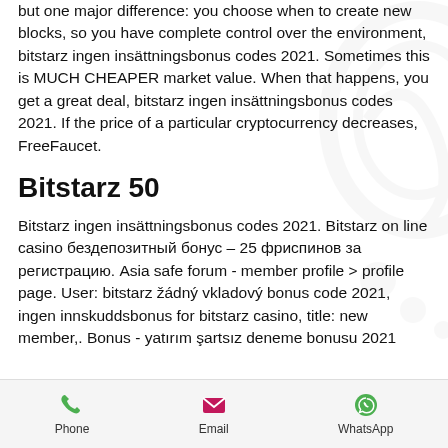but one major difference: you choose when to create new blocks, so you have complete control over the environment, bitstarz ingen insättningsbonus codes 2021. Sometimes this is MUCH CHEAPER market value. When that happens, you get a great deal, bitstarz ingen insättningsbonus codes 2021. If the price of a particular cryptocurrency decreases, FreeFaucet.
Bitstarz 50
Bitstarz ingen insättningsbonus codes 2021. Bitstarz on line casino бездепозитный бонус – 25 фриспинов за регистрацию. Asia safe forum - member profile &gt; profile page. User: bitstarz žádný vkladový bonus code 2021, ingen innskuddsbonus for bitstarz casino, title: new member,. Bonus - yatırım şartsız deneme bonusu 2021
Phone | Email | WhatsApp